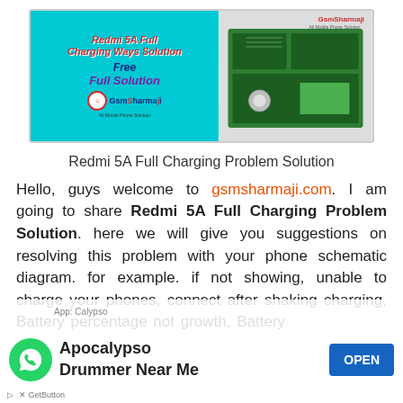[Figure (infographic): Banner image for 'Redmi 5A Full Charging Ways Solution' with GsmSharmaji branding, cyan/blue background on left with red bold italic text, and circuit board image on right]
Redmi 5A Full Charging Problem Solution
Hello, guys welcome to gsmsharmaji.com. I am going to share Redmi 5A Full Charging Problem Solution. here we will give you suggestions on resolving this problem with your phone schematic diagram. for example. if not showing, unable to charge your phones, connect after shaking charging, Battery percentage not growth, Battery